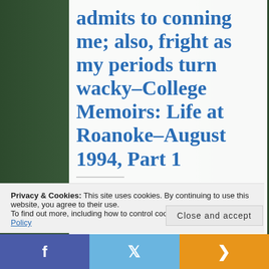admits to conning me; also, fright as my periods turn wacky–College Memoirs: Life at Roanoke–August 1994, Part 1
by Nyssa McCanmore / January 10, 2014
On August 4, I wrote in my diary,
Privacy & Cookies: This site uses cookies. By continuing to use this website, you agree to their use. To find out more, including how to control cookies, see here: Cookie Policy
Close and accept